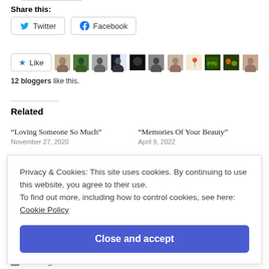Share this:
Twitter   Facebook
[Figure (infographic): Like button with star icon followed by 10 blogger avatar thumbnails]
12 bloggers like this.
Related
“Loving Someone So Much”
November 27, 2020
“Memories Of Your Beauty”
April 9, 2022
Privacy & Cookies: This site uses cookies. By continuing to use this website, you agree to their use.
To find out more, including how to control cookies, see here: Cookie Policy
Close and accept
Uncategorized